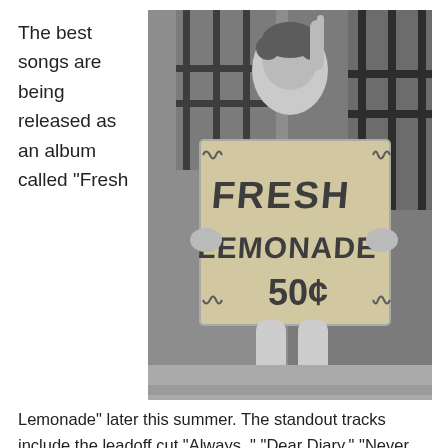The best songs are being released as an album called "Fresh
[Figure (photo): Black and white photograph of a young child holding a handmade cardboard sign reading 'FRESH LEMONADE 50¢', sitting on steps near a brick wall with iron bars visible in the background.]
Lemonade" later this summer. The standout tracks include the leadoff cut "Always, " "Dear Diary," "Never Leave Me Alone," and "Leave the Light On," which Hartley-Leonard describes as, "about having an affair.  I didn't